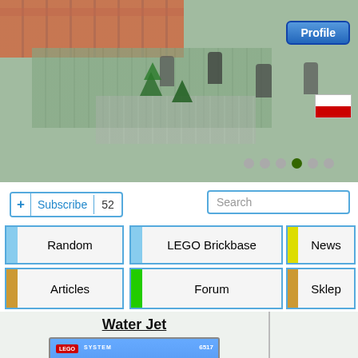[Figure (photo): LEGO city scene hero banner with red brick roof structure, green baseplate with trees and minifigures, gray pathway]
Profile
[Figure (illustration): Polish flag (white over red horizontal stripes)]
[Figure (infographic): Navigation dots indicator, 6 dots with 4th one active/green]
+ Subscribe  52
Search
Random
LEGO Brickbase
News
Articles
Forum
Sklep
Water Jet
[Figure (photo): LEGO System set 6517 Water Jet box art showing a minifigure riding a blue and red jet ski watercraft with palm tree and cone, on blue water background]